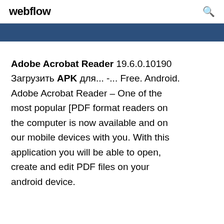webflow
Adobe Acrobat Reader 19.6.0.10190 Загрузить APK для... -... Free. Android. Adobe Acrobat Reader – One of the most popular [PDF format readers on the computer is now available and on our mobile devices with you. With this application you will be able to open, create and edit PDF files on your android device.